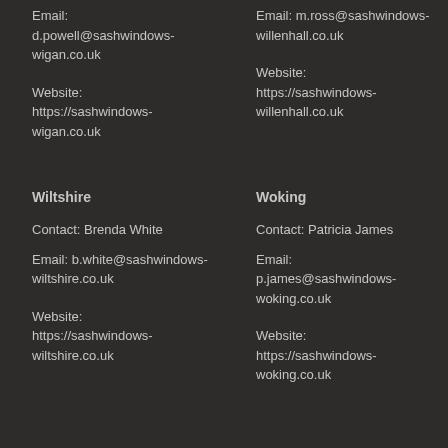Email: d.powell@sashwindows-wigan.co.uk
Website: https://sashwindows-wigan.co.uk
Email: m.ross@sashwindows-willenhall.co.uk
Website: https://sashwindows-willenhall.co.uk
Wiltshire
Contact: Brenda White
Email: b.white@sashwindows-wiltshire.co.uk
Website: https://sashwindows-wiltshire.co.uk
Woking
Contact: Patricia James
Email: p.james@sashwindows-woking.co.uk
Website: https://sashwindows-woking.co.uk